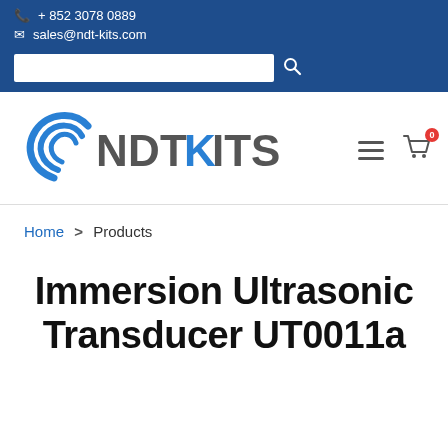+ 852 3078 0889 | sales@ndt-kits.com
[Figure (logo): NDT Kits company logo with blue swirl icon and gray NDTKITS text]
Home > Products
Immersion Ultrasonic Transducer UT0011a